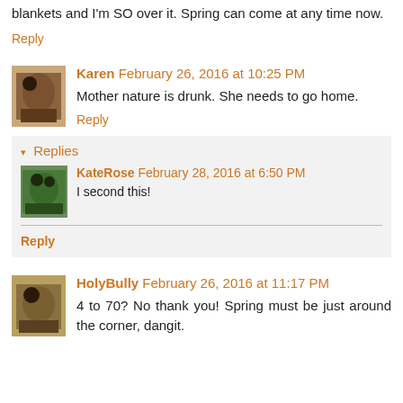blankets and I'm SO over it. Spring can come at any time now.
Reply
Karen  February 26, 2016 at 10:25 PM
Mother nature is drunk. She needs to go home.
Reply
▾ Replies
KateRose  February 28, 2016 at 6:50 PM
I second this!
Reply
HolyBully  February 26, 2016 at 11:17 PM
4 to 70? No thank you! Spring must be just around the corner, dangit.